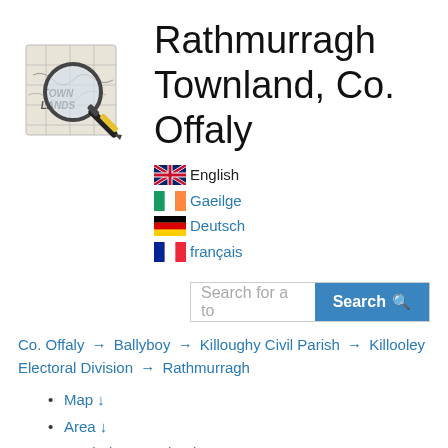[Figure (logo): Townlands map logo with magnifying glass over a map showing 'TOWN LANDS' text]
Rathmurragh Townland, Co. Offaly
English
Gaeilge
Deutsch
français
Search for a to  Search
Co. Offaly → Ballyboy → Killoughy Civil Parish → Killooley Electoral Division → Rathmurragh
Map ↓
Area ↓
Bordering Townlands ↓
Subtownlands ↓
Records Search ↓